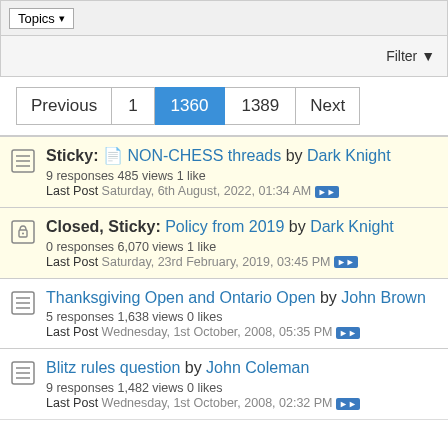Topics | Filter
Sticky: NON-CHESS threads by Dark Knight
9 responses 485 views 1 like
Last Post Saturday, 6th August, 2022, 01:34 AM
Closed, Sticky: Policy from 2019 by Dark Knight
0 responses 6,070 views 1 like
Last Post Saturday, 23rd February, 2019, 03:45 PM
Thanksgiving Open and Ontario Open by John Brown
5 responses 1,638 views 0 likes
Last Post Wednesday, 1st October, 2008, 05:35 PM
Blitz rules question by John Coleman
9 responses 1,482 views 0 likes
Last Post Wednesday, 1st October, 2008, 02:32 PM